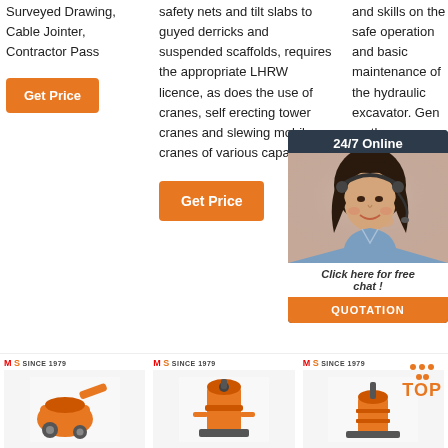Surveyed Drawing, Cable Jointer, Contractor Pass
[Figure (other): Orange 'Get Price' button]
safety nets and tilt slabs to guyed derricks and suspended scaffolds, requires the appropriate LHRW licence, as does the use of cranes, self erecting tower cranes and slewing mobile cranes of various capacities.
[Figure (other): Orange 'Get Price' button]
and skills on the safe operation and basic maintenance of the hydraulic excavator. General earthmoving surveying, compaction and hydraulic systems for excavators.
[Figure (other): 24/7 Online chat widget with female customer service rep photo, 'Click here for free chat!' text, and QUOTATION button]
[Figure (other): Orange 'Get Price' button (partially visible)]
[Figure (photo): Three orange industrial/construction equipment product photos with MS SINCE 1979 logos. Bottom row showing small machinery products.]
[Figure (other): TOP badge with orange dots and orange TOP text]